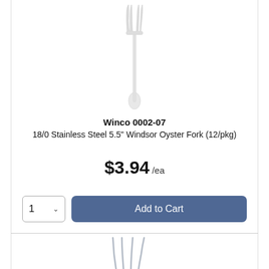[Figure (photo): A single stainless steel oyster fork shown vertically, handle at bottom, tines at top, white/silver finish on white background.]
Winco 0002-07
18/0 Stainless Steel 5.5" Windsor Oyster Fork (12/pkg)
$3.94 /ea
1  Add to Cart
[Figure (photo): Bottom portion of another stainless steel fork, showing the tines fanned out, partially visible at bottom of page.]